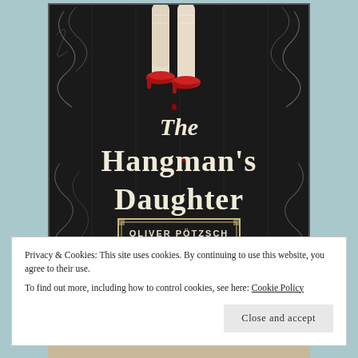[Figure (illustration): Book cover of 'The Hangman's Daughter' by Oliver Pötzsch. Dark black background with gothic whitish decorative swirls. Center shows woman's legs in red high-heeled shoes. Large gothic-lettered title text reads 'The Hangman's Daughter'. Author name 'OLIVER PÖTZSCH' appears in an ornate rectangular frame at the bottom.]
Privacy & Cookies: This site uses cookies. By continuing to use this website, you agree to their use.
To find out more, including how to control cookies, see here: Cookie Policy
Close and accept